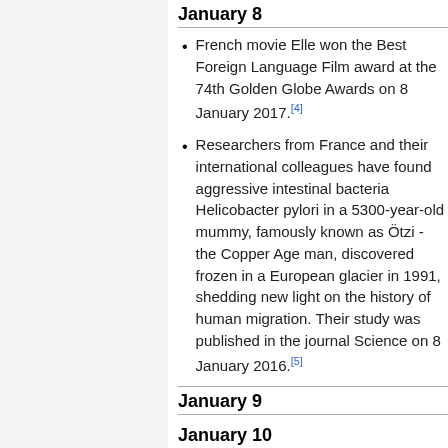January 8
French movie Elle won the Best Foreign Language Film award at the 74th Golden Globe Awards on 8 January 2017.[4]
Researchers from France and their international colleagues have found aggressive intestinal bacteria Helicobacter pylori in a 5300-year-old mummy, famously known as Ötzi - the Copper Age man, discovered frozen in a European glacier in 1991, shedding new light on the history of human migration. Their study was published in the journal Science on 8 January 2016.[5]
January 9
January 10